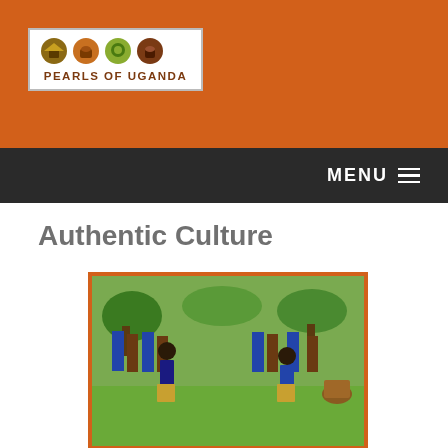[Figure (logo): Pearls of Uganda logo with four circular icons and text 'PEARLS OF UGANDA' on white background]
MENU ☰
Authentic Culture
[Figure (photo): Traditional Ugandan cultural dance performance outdoors, with performers wearing grass skirts and blue attire, dancing on a green lawn with trees in background]